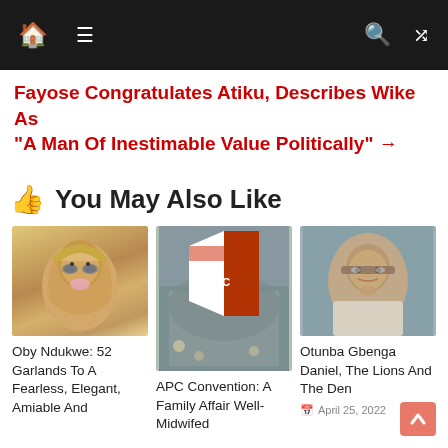Navigation bar with home, menu, search, and shuffle icons
Fayose Congratulates Atiku, Describes Wike As "A Man Of Inestimable Value Politically" →
👍 You May Also Like
[Figure (photo): Photo of a woman with blonde hair and blue sunglasses]
Oby Ndukwe: 52 Garlands To A Fearless, Elegant, Amiable And
[Figure (photo): Photo of APC party flag with crowd at rally]
APC Convention: A Family Affair Well-Midwifed
[Figure (photo): Photo of Otunba Gbenga Daniel, an older man in light colored clothing]
Otunba Gbenga Daniel, The Lions And The Den
April 25, 2022